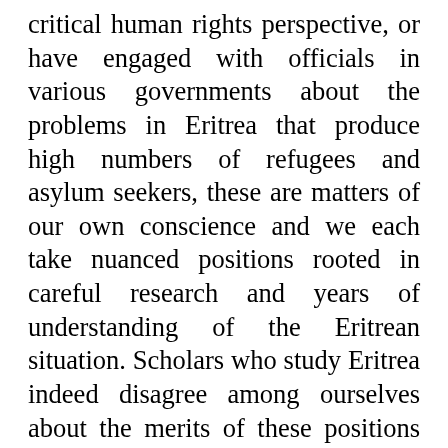critical human rights perspective, or have engaged with officials in various governments about the problems in Eritrea that produce high numbers of refugees and asylum seekers, these are matters of our own conscience and we each take nuanced positions rooted in careful research and years of understanding of the Eritrean situation. Scholars who study Eritrea indeed disagree among ourselves about the merits of these positions and whether these are the best methods for applying our empirical knowledge. Many of us explicitly address these tensions in our work. And while some of us have received research funding from